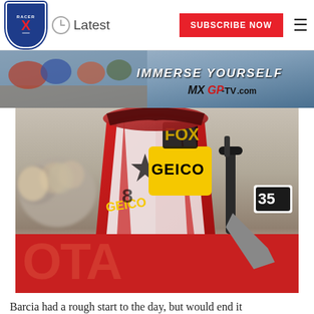Latest | SUBSCRIBE NOW
[Figure (photo): Advertisement banner for MXGP-TV.com featuring motocross riders and text IMMERSE YOURSELF]
[Figure (photo): Close-up photo of a motocross rider wearing GEICO Fox Racing gear in red and white, riding a dirt bike with handlebars visible, dirt track in background with partial TOYOTA sponsor text visible]
Barcia had a rough start to the day, but would end it